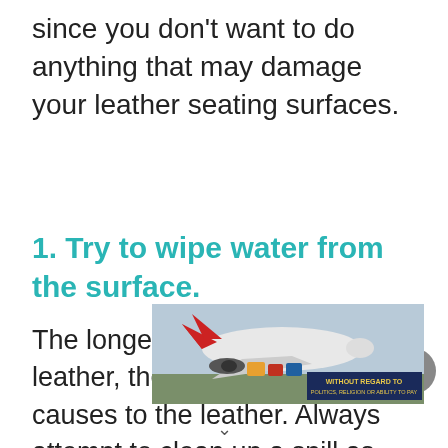since you don't want to do anything that may damage your leather seating surfaces.
1. Try to wipe water from the surface.
The longer the water is on the leather, the more damage it causes to the leather. Always attempt to clean up a spill as soon as it is reasonably practicable, if at all possible
[Figure (photo): Advertisement banner showing an airplane being loaded with cargo, with text overlay 'WITHOUT REGARD TO POLITICS, RELIGION OR ABILITY TO PAY']